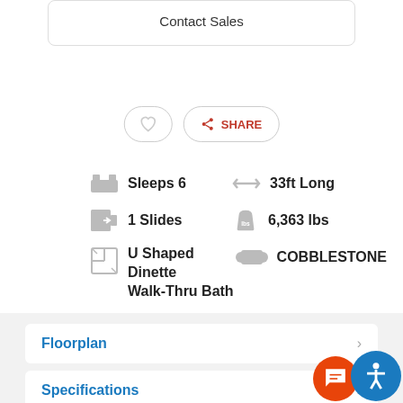Contact Sales
[Figure (infographic): Heart (favorite) icon button and Share button with orange share icon]
Sleeps 6
33ft Long
1 Slides
6,363 lbs
U Shaped Dinette Walk-Thru Bath
COBBLESTONE
Floorplan
Specifications